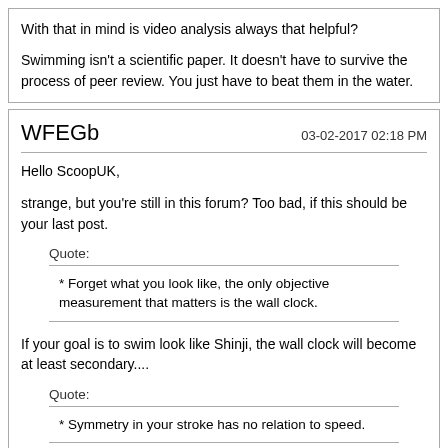With that in mind is video analysis always that helpful?

Swimming isn't a scientific paper. It doesn't have to survive the process of peer review. You just have to beat them in the water.
WFEGb
03-02-2017 02:18 PM
Hello ScoopUK,

strange, but you're still in this forum? Too bad, if this should be your last post.

Quote:
* Forget what you look like, the only objective measurement that matters is the wall clock.

If your goal is to swim look like Shinji, the wall clock will become at least secondary....

Quote:
* Symmetry in your stroke has no relation to speed.